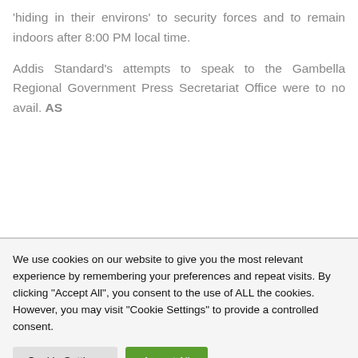'hiding in their environs' to security forces and to remain indoors after 8:00 PM local time. Addis Standard's attempts to speak to the Gambella Regional Government Press Secretariat Office were to no avail. AS
We use cookies on our website to give you the most relevant experience by remembering your preferences and repeat visits. By clicking "Accept All", you consent to the use of ALL the cookies. However, you may visit "Cookie Settings" to provide a controlled consent.